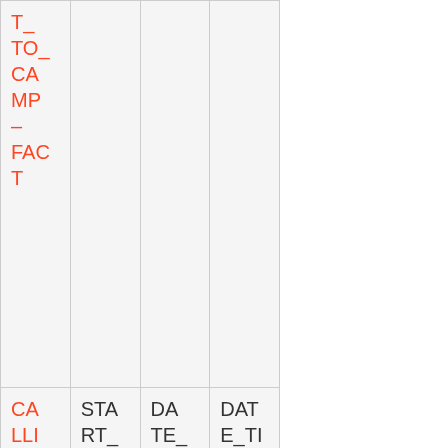| T_TO_CAMP_FACT |  |  |  |
| CALLING_LIST_TO_CAMP_FACT | START_DATE_TIME_KEY | DATE_TIME | DATE_TIME_KEY |
| ... | ... | ... | ... |